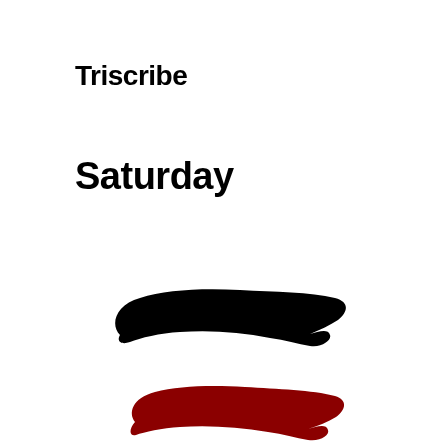Triscribe
Saturday
[Figure (illustration): A black brushstroke or paint smear shape, elongated horizontally, slightly curved, with a tapered tip pointing right-downward, positioned in the lower-center area of the page.]
[Figure (illustration): A dark red/maroon brushstroke or paint smear shape, elongated horizontally, similar in shape to the black one above it, with a tapered tip pointing right-downward, positioned below the black brushstroke.]